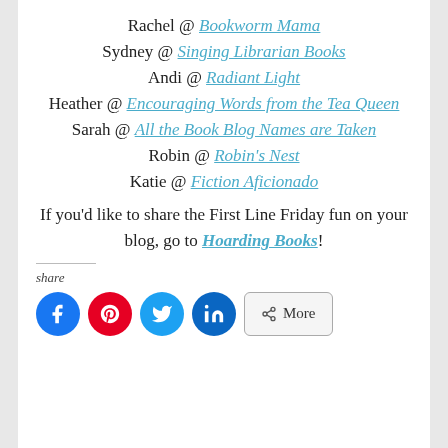Rachel @ Bookworm Mama
Sydney @ Singing Librarian Books
Andi @ Radiant Light
Heather @ Encouraging Words from the Tea Queen
Sarah @ All the Book Blog Names are Taken
Robin @ Robin's Nest
Katie @ Fiction Aficionado
If you'd like to share the First Line Friday fun on your blog, go to Hoarding Books!
share
[Figure (other): Social media share buttons: Facebook, Pinterest, Twitter, LinkedIn, and a More button]